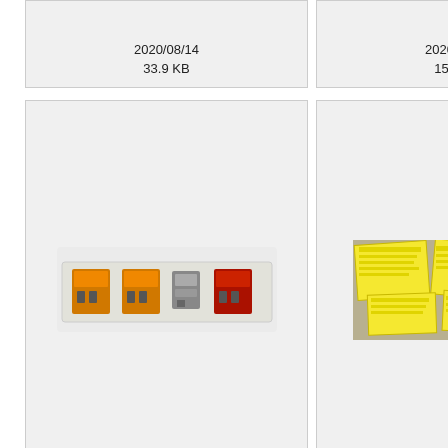[Figure (screenshot): File browser thumbnail grid showing image files with names, dimensions, dates and sizes. Top row shows partial cells: 2020/08/14 33.9 KB and 2020/08/14 15.3 KB. Second row shows exphis_d... 572x213 2020/08/14 21.3 KB (control panel image) and exphis_d... 758x378 2020/08/14 47.3 KB (yellow sticky notes image) and partial cell. Third row shows exphis_d... 560x332 2020/08/14 24.9 KB (diagram image) and exphis_d... 119x25 2020/08/14 1.3 KB (Vector paralele button).]